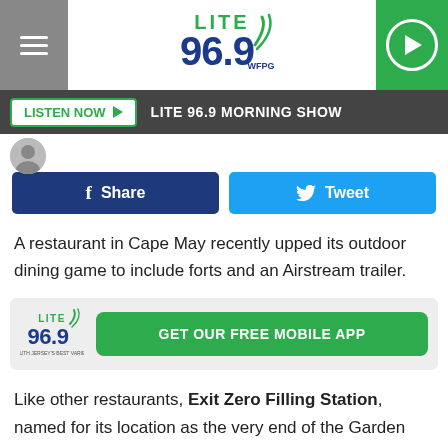LITE 96.9 WFPG
LISTEN NOW  LITE 96.9 MORNING SHOW
[Figure (screenshot): Social share buttons: Facebook Share (dark blue) and Twitter Tweet (light blue)]
A restaurant in Cape May recently upped its outdoor dining game to include forts and an Airstream trailer.
[Figure (logo): LITE 96.9 logo with GET OUR FREE MOBILE APP button in green]
Like other restaurants, Exit Zero Filling Station, named for its location as the very end of the Garden State Parkway, had to get creative in finding safe ways to continue to serve customers amid the COVID-19 pandemic.